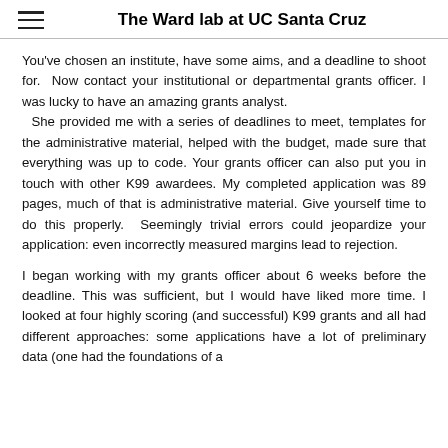The Ward lab at UC Santa Cruz
You've chosen an institute, have some aims, and a deadline to shoot for.  Now contact your institutional or departmental grants officer. I was lucky to have an amazing grants analyst.   She provided me with a series of deadlines to meet, templates for the administrative material, helped with the budget, made sure that everything was up to code. Your grants officer can also put you in touch with other K99 awardees. My completed application was 89 pages, much of that is administrative material. Give yourself time to do this properly.  Seemingly trivial errors could jeopardize your application: even incorrectly measured margins lead to rejection.
I began working with my grants officer about 6 weeks before the deadline. This was sufficient, but I would have liked more time. I looked at four highly scoring (and successful) K99 grants and all had different approaches: some applications have a lot of preliminary data (one had the foundations of a